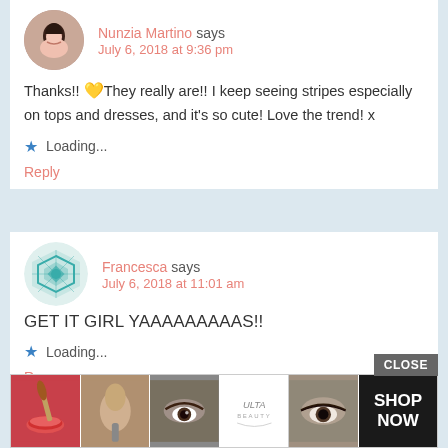Nunzia Martino says
July 6, 2018 at 9:36 pm
Thanks!! 💛They really are!! I keep seeing stripes especially on tops and dresses, and it's so cute! Love the trend! x
Loading...
Reply
Francesca says
July 6, 2018 at 11:01 am
GET IT GIRL YAAAAAAAAAS!!
Loading...
Re...
[Figure (screenshot): Ad banner showing beauty/makeup products with ULTA logo and SHOP NOW button, with CLOSE button above]